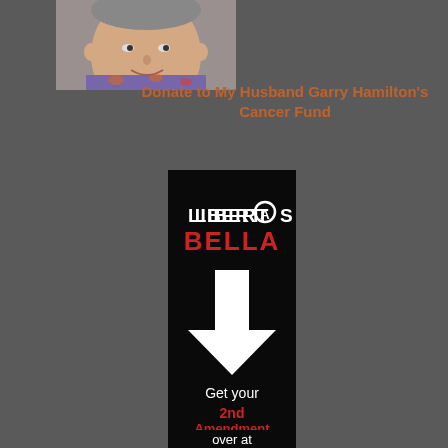[Figure (photo): Headshot photo of a middle-aged man smiling, wearing a floral shirt, partially visible at top left area of page]
Donate to My Husband Garry Hamilton's Cancer Fund
[Figure (logo): Libertas Bella advertisement banner on black background. White and red text logo 'LIBERTAS BELLA' with a circled-A symbol. White downward pointing arrow. Text reads: Get your 2nd Amendment Shirts over at]